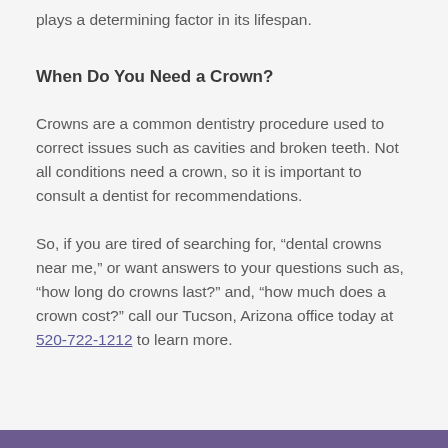plays a determining factor in its lifespan.
When Do You Need a Crown?
Crowns are a common dentistry procedure used to correct issues such as cavities and broken teeth. Not all conditions need a crown, so it is important to consult a dentist for recommendations.
So, if you are tired of searching for, “dental crowns near me,” or want answers to your questions such as, “how long do crowns last?” and, “how much does a crown cost?” call our Tucson, Arizona office today at 520-722-1212 to learn more.